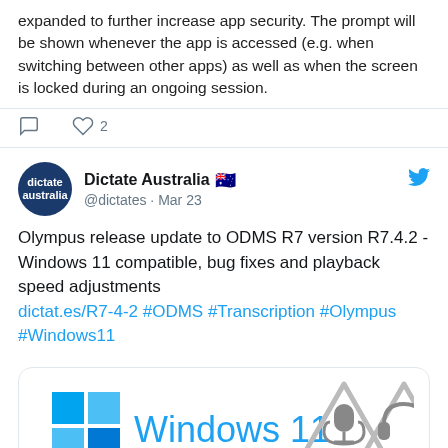expanded to further increase app security. The prompt will be shown whenever the app is accessed (e.g. when switching between other apps) as well as when the screen is locked during an ongoing session.
comment icon, heart icon 2
Dictate Australia 🇦🇺 @dictates · Mar 23
Olympus release update to ODMS R7 version R7.4.2 - Windows 11 compatible, bug fixes and playback speed adjustments dictat.es/R7-4-2 #ODMS #Transcription #Olympus #Windows11
[Figure (screenshot): Windows 11 logo with microphone and headphones icons for Olympus ODMS]
comment icon, heart icon